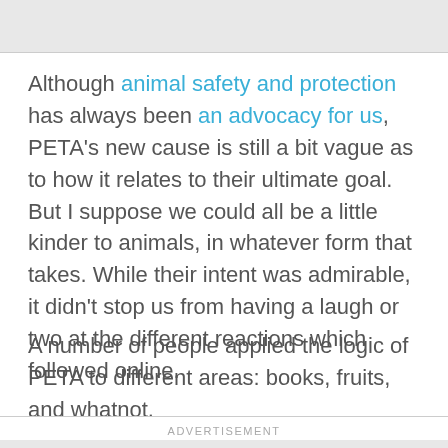Although animal safety and protection has always been an advocacy for us, PETA’s new cause is still a bit vague as to how it relates to their ultimate goal. But I suppose we could all be a little kinder to animals, in whatever form that takes. While their intent was admirable, it didn’t stop us from having a laugh or two at the different reactions which followed online.
A number of people applied the logic of PETA to different areas: books, fruits, and whatnot.
ADVERTISEMENT